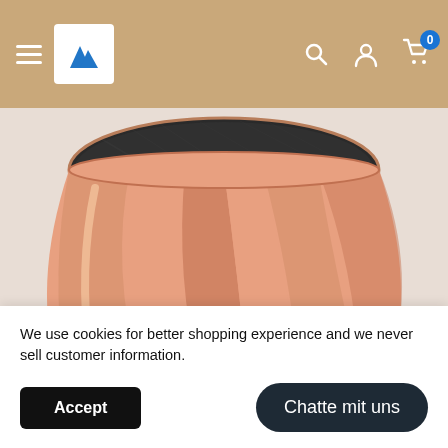[Figure (screenshot): E-commerce website navigation bar with hamburger menu, logo (double mountain icon), search icon, user icon, and cart icon with badge showing 0. Background is tan/khaki color.]
[Figure (photo): Close-up product photo of a copper/rose gold metallic stemless wine glass or tumbler with dark brushed interior, viewed from slightly above.]
We use cookies for better shopping experience and we never sell customer information.
Accept
Chatte mit uns